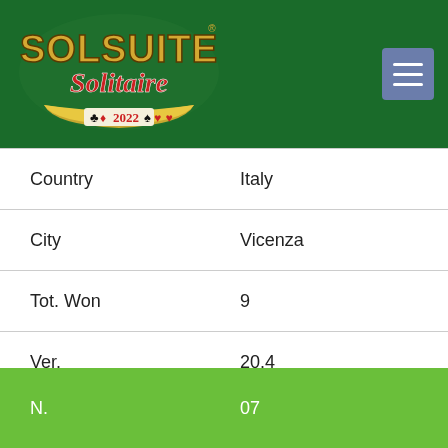[Figure (logo): SolSuite Solitaire 2022 logo on dark green background with card suit symbols]
| Field | Value |
| --- | --- |
| Country | Italy |
| City | Vicenza |
| Tot. Won | 9 |
| Ver. | 20.4 |
| Date | 9 May 20 |
| N. | 07 |